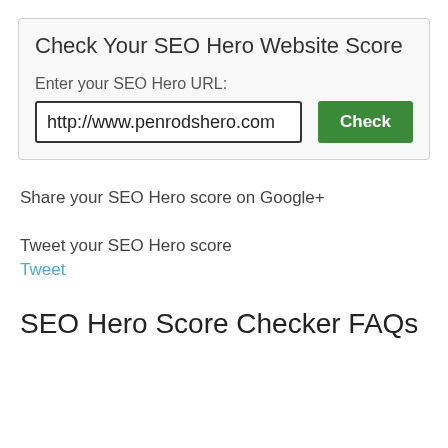Check Your SEO Hero Website Score
Enter your SEO Hero URL:
http://www.penrodshero.com
Share your SEO Hero score on Google+
Tweet your SEO Hero score
Tweet
SEO Hero Score Checker FAQs